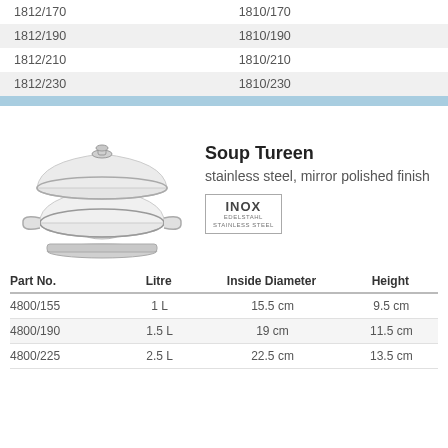| Col1 | Col2 |
| --- | --- |
| 1812/170 | 1810/170 |
| 1812/190 | 1810/190 |
| 1812/210 | 1810/210 |
| 1812/230 | 1810/230 |
[Figure (photo): Soup tureen made of stainless steel with mirror polished finish, shown with lid, handles, and pedestal base. INOX stainless steel badge shown.]
Soup Tureen
stainless steel, mirror polished finish
| Part No. | Litre | Inside Diameter | Height |
| --- | --- | --- | --- |
| 4800/155 | 1 L | 15.5 cm | 9.5 cm |
| 4800/190 | 1.5 L | 19 cm | 11.5 cm |
| 4800/225 | 2.5 L | 22.5 cm | 13.5 cm |